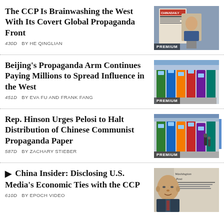The CCP Is Brainwashing the West With Its Covert Global Propaganda Front
430D  BY HE QINGLIAN
[Figure (photo): China Daily newspaper being held up]
Beijing's Propaganda Arm Continues Paying Millions to Spread Influence in the West
451D  BY EVA FU AND FRANK FANG
[Figure (photo): Row of colorful newspaper vending machines on a city street]
Rep. Hinson Urges Pelosi to Halt Distribution of Chinese Communist Propaganda Paper
587D  BY ZACHARY STIEBER
[Figure (photo): Row of colorful newspaper vending machines on a city street]
⊙ China Insider: Disclosing U.S. Media's Economic Ties with the CCP
610D  BY EPOCH VIDEO
[Figure (photo): Bald man in suit with Washington Post newspaper behind him]